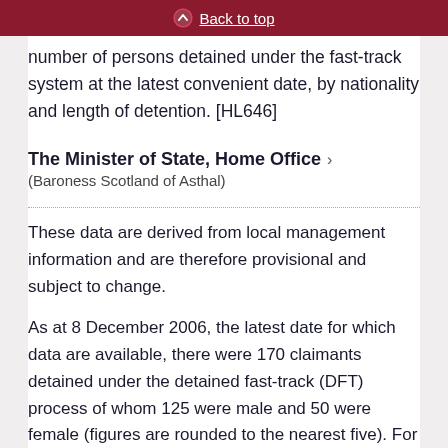Back to top
number of persons detained under the fast-track system at the latest convenient date, by nationality and length of detention. [HL646]
The Minister of State, Home Office
(Baroness Scotland of Asthal)
These data are derived from local management information and are therefore provisional and subject to change.
As at 8 December 2006, the latest date for which data are available, there were 170 claimants detained under the detained fast-track (DFT) process of whom 125 were male and 50 were female (figures are rounded to the nearest five). For details